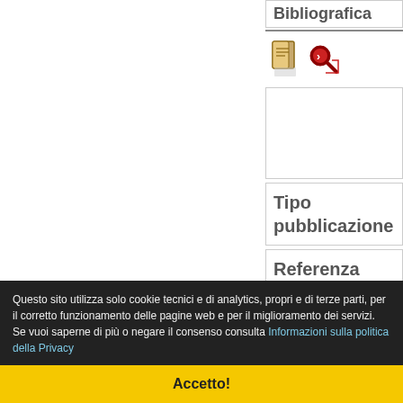Bibliografica
[Figure (screenshot): Two small icons: a document icon and a red magnifier/arrow icon]
Tipo pubblicazione
Referenza Bibliografica
[Figure (screenshot): Two small icons: a document icon and a red magnifier/arrow icon]
Questo sito utilizza solo cookie tecnici e di analytics, propri e di terze parti, per il corretto funzionamento delle pagine web e per il miglioramento dei servizi. Se vuoi saperne di più o negare il consenso consulta Informazioni sulla politica della Privacy
Accetto!